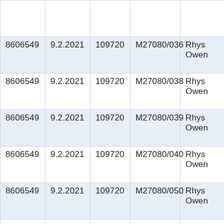|  |  |  |  |  | T5... |
| --- | --- | --- | --- | --- | --- |
| 8606549 | 9.2.2021 | 109720 | M27080/036 | Rhys Owen | T5 |
| 8606549 | 9.2.2021 | 109720 | M27080/038 | Rhys Owen | T5 |
| 8606549 | 9.2.2021 | 109720 | M27080/039 | Rhys Owen | T5 |
| 8606549 | 9.2.2021 | 109720 | M27080/040 | Rhys Owen | T5 |
| 8606549 | 9.2.2021 | 109720 | M27080/050 | Rhys Owen | T5 |
| 8606549 | 9.2.2021 | 109720 | M27080/051 | Rhys Owen | T5 |
| 8606549 | 9.2.2021 | 109720 | M27080/061 | Antri... | T5 |